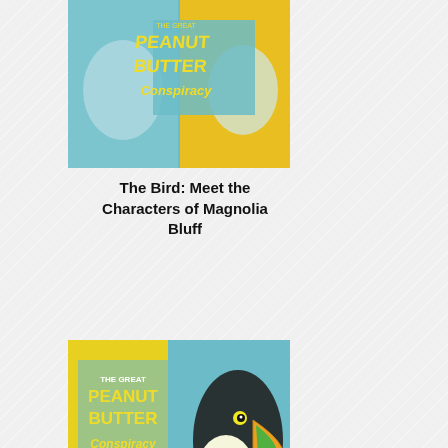[Figure (illustration): Book cover of 'The Great Peanut Butter Conspiracy' showing a toucan, a girl with glasses, and a ghostly face on a blue/yellow background]
The Bird: Meet the Characters of Magnolia Bluff
[Figure (illustration): Book cover of 'The Great Peanut Butter Conspiracy' showing a toucan, a girl with glasses, and a ghostly face on a yellow/blue background]
There's a new mystery in Magnolia Bluff
[Figure (illustration): Third book cover partially visible at the bottom of the page]